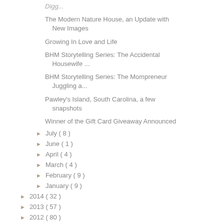Digg...
The Modern Nature House, an Update with New Images
Growing In Love and Life
BHM Storytelling Series: The Accidental Housewife ...
BHM Storytelling Series: The Mompreneur Juggling a...
Pawley's Island, South Carolina, a few snapshots
Winner of the Gift Card Giveaway Announced
July ( 8 )
June ( 1 )
April ( 4 )
March ( 4 )
February ( 9 )
January ( 9 )
2014 ( 32 )
2013 ( 57 )
2012 ( 80 )
2011 ( 120 )